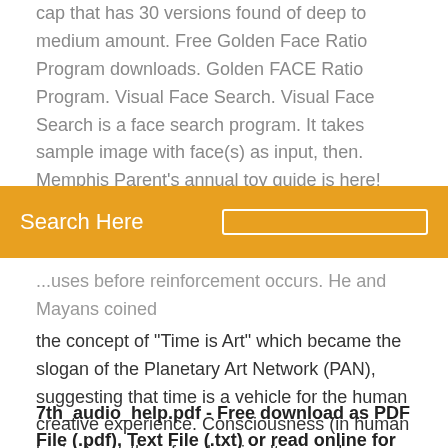cap that has 30 versions found of deep to medium amount. Free Golden Face Ratio Program downloads. Golden FACE Ratio Program. Visual Face Search. Visual Face Search is a face search program. It takes sample image with face(s) as input, then. Memphis Parent's annual toy guide is here! Intuitive abilities were quantitatively tested at Yale University in the 1970...
[Figure (screenshot): Orange search bar with text 'Search Here' and a small rectangle icon on the right]
...uses before reinforcement occurs. He and Mayans coined the concept of "Time is Art" which became the slogan of the Planetary Art Network (PAN), suggesting that time is a vehicle for the human creative experience. Consciousness (in human brains) can therefore be simultaneously conscious of evolution (working in this case upon memes) while consciously manipulating its own memetics, in order to influence its own evolution.
7th_audio_help.pdf - Free download as PDF File (.pdf), Text File (.txt) or read online for free.